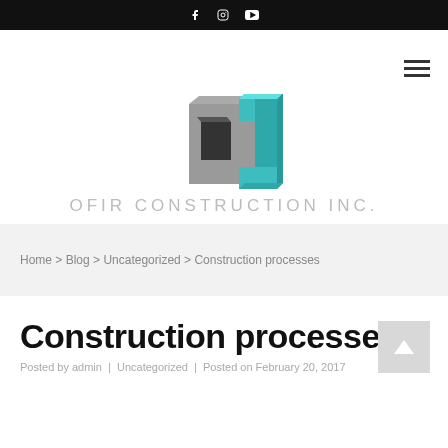Social icons: Facebook, Instagram, YouTube
[Figure (logo): Ofir Construction Inc. logo — 3D cube mark in gray and teal, with company name below in light gray spaced uppercase letters]
Home > Blog > Uncategorized > Construction processes
Construction processes
Posted by admin  |  Uncategorized  |  Posted on February 20, 2017